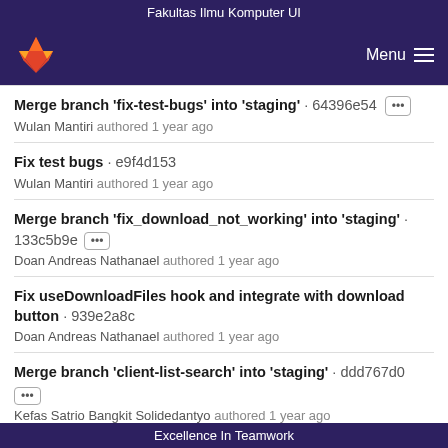Fakultas Ilmu Komputer UI
[Figure (logo): GitLab fox logo in orange/red on dark purple navigation bar with Menu hamburger icon]
Merge branch 'fix-test-bugs' into 'staging' · 64396e54 [...] Wulan Mantiri authored 1 year ago
Fix test bugs · e9f4d153 Wulan Mantiri authored 1 year ago
Merge branch 'fix_download_not_working' into 'staging' · 133c5b9e [...] Doan Andreas Nathanael authored 1 year ago
Fix useDownloadFiles hook and integrate with download button · 939e2a8c Doan Andreas Nathanael authored 1 year ago
Merge branch 'client-list-search' into 'staging' · ddd767d0 [...] Kefas Satrio Bangkit Solidedantyo authored 1 year ago
Excellence In Teamwork